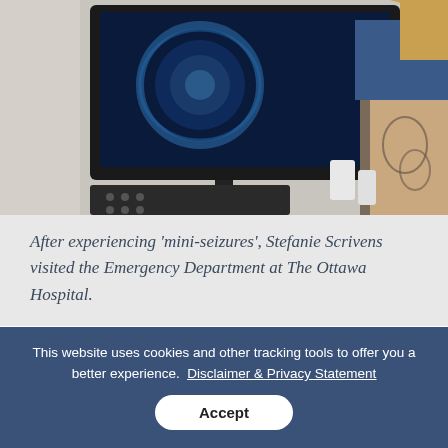[Figure (photo): A woman with tattoos on her arm sits next to a medical monitor displaying a scan. She is in a clinical setting.]
After experiencing 'mini-seizures', Stefanie Scrivens visited the Emergency Department at The Ottawa Hospital.
Due to the repetitive nature of her symptoms, Dr. Seale thought she may have epilepsy and ordered her a CT scan to investigate further. But the results from her
This website uses cookies and other tracking tools to offer you a better experience. Disclaimer & Privacy Statement
Accept